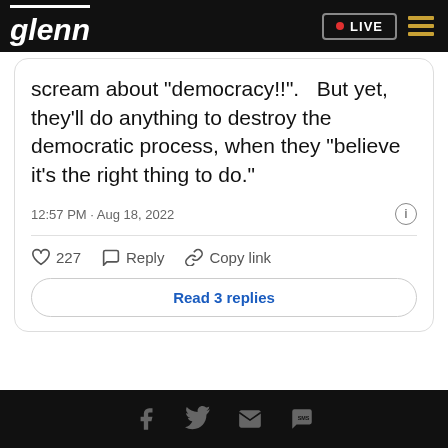glenn | LIVE
scream about "democracy!!".   But yet, they'll do anything to destroy the democratic process, when they "believe it's the right thing to do."
12:57 PM · Aug 18, 2022
227  Reply  Copy link
Read 3 replies
Social share icons: Facebook, Twitter, Email, SMS